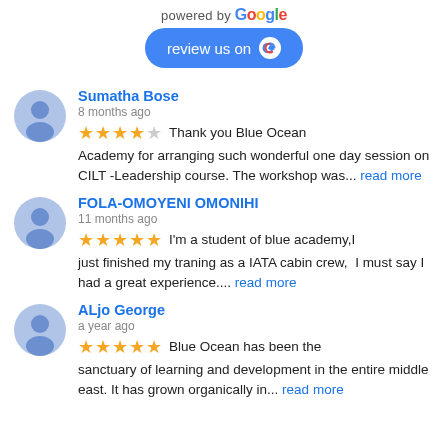[Figure (logo): powered by Google logo with colored letters]
[Figure (other): Review us on Google button with G logo]
Sumatha Bose — 8 months ago — 4 stars — Thank you Blue Ocean Academy for arranging such wonderful one day session on CILT -Leadership course. The workshop was... read more
FOLA-OMOYENI OMONIHI — 11 months ago — 5 stars — I'm a student of blue academy,I just finished my traning as a IATA cabin crew,  I must say I had a great experience.... read more
ALjo George — a year ago — 5 stars — Blue Ocean has been the sanctuary of learning and development in the entire middle east. It has grown organically in... read more